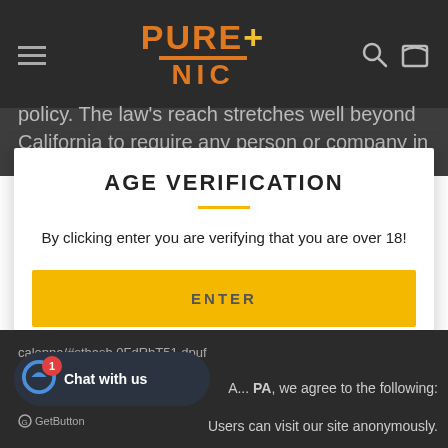PURE+ NIC (logo header with navigation icons)
policy. The law's reach stretches well beyond California to require any person or company in the United States (and
AGE VERIFICATION
By clicking enter you are verifying that you are over 18!
ENTER
caloppa/#sthash.0FdRbT51.dpuf
A... PA, we agree to the following:
Users can visit our site anonymously.